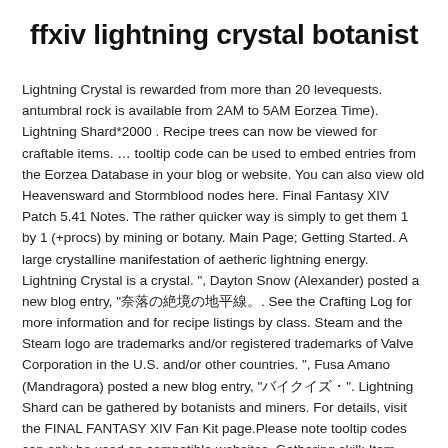ffxiv lightning crystal botanist
Lightning Crystal is rewarded from more than 20 levequests. antumbral rock is available from 2AM to 5AM Eorzea Time). Lightning Shard*2000 . Recipe trees can now be viewed for craftable items. … tooltip code can be used to embed entries from the Eorzea Database in your blog or website. You can also view old Heavensward and Stormblood nodes here. Final Fantasy XIV Patch 5.41 Notes. The rather quicker way is simply to get them 1 by 1 (+procs) by mining or botany. Main Page; Getting Started. A large crystalline manifestation of aetheric lightning energy. Lightning Crystal is a crystal. ", Dayton Snow (Alexander) posted a new blog entry, "奈落の絶境の地平線。. See the Crafting Log for more information and for recipe listings by class. Steam and the Steam logo are trademarks and/or registered trademarks of Valve Corporation in the U.S. and/or other countries. ", Fusa Amano (Mandragora) posted a new blog entry, "バイクイズ・". Lightning Shard can be gathered by botanists and miners. For details, visit the FINAL FANTASY XIV Fan Kit page.Please note tooltip codes can only be used on compatible websites. Gathering skill: Item